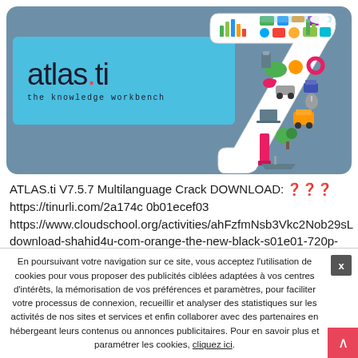[Figure (logo): ATLAS.ti version 7 logo banner with steel-blue rounded rectangle background, cyan sub-banner with 'atlas.ti the knowledge workbench' text, and a large illustrated '7' numeral on the right filled with colorful icons]
ATLAS.ti V7.5.7 Multilanguage Crack DOWNLOAD: 🔑
https://tinurli.com/2a174c 0b01ecef03
https://www.cloudschool.org/activities/ahFzfmNsb3Vkc2Nob29sL
download-shahid4u-com-orange-the-new-black-s01e01-720p-
En poursuivant votre navigation sur ce site, vous acceptez l'utilisation de cookies pour vous proposer des publicités ciblées adaptées à vos centres d'intérêts, la mémorisation de vos préférences et paramètres, pour faciliter votre processus de connexion, recueillir et analyser des statistiques sur les activités de nos sites et services et enfin collaborer avec des partenaires en hébergeant leurs contenus ou annonces publicitaires. Pour en savoir plus et paramétrer les cookies, cliquez ici.